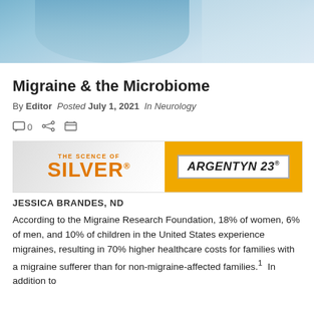[Figure (photo): Partial photo of a person in blue clothing, cropped at top of page]
Migraine & the Microbiome
By Editor  Posted July 1, 2021  In Neurology
[Figure (logo): Advertisement banner: 'THE SCIENCE OF SILVER' on left with orange text on light background, and 'ARGENTYN 23' logo on right with orange background]
JESSICA BRANDES, ND
According to the Migraine Research Foundation, 18% of women, 6% of men, and 10% of children in the United States experience migraines, resulting in 70% higher healthcare costs for families with a migraine sufferer than for non-migraine-affected families.¹  In addition to